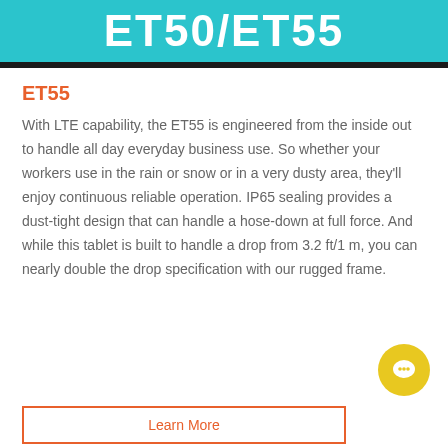[Figure (other): Teal/cyan header banner with white bold text reading ET50/ET55]
ET55
With LTE capability, the ET55 is engineered from the inside out to handle all day everyday business use. So whether your workers use in the rain or snow or in a very dusty area, they'll enjoy continuous reliable operation. IP65 sealing provides a dust-tight design that can handle a hose-down at full force. And while this tablet is built to handle a drop from 3.2 ft/1 m, you can nearly double the drop specification with our rugged frame.
[Figure (other): Yellow circular chat bubble icon button in bottom right corner]
Learn More